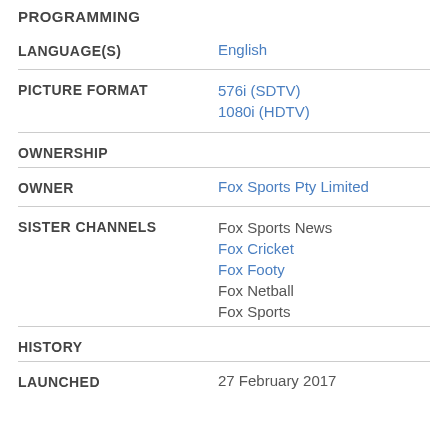PROGRAMMING
| Field | Value |
| --- | --- |
| LANGUAGE(S) | English |
| PICTURE FORMAT | 576i (SDTV)
1080i (HDTV) |
| OWNERSHIP |  |
| OWNER | Fox Sports Pty Limited |
| SISTER CHANNELS | Fox Sports News
Fox Cricket
Fox Footy
Fox Netball
Fox Sports |
| HISTORY |  |
| LAUNCHED | 27 February 2017 |